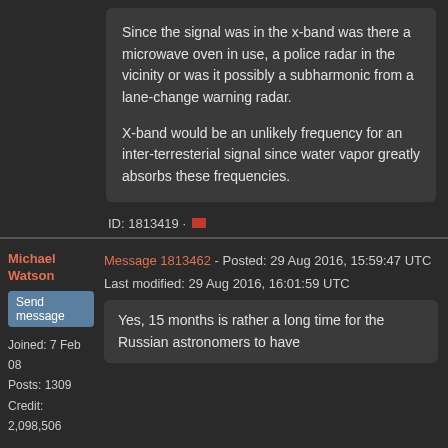Since the signal was in the x-band was there a microwave oven in use, a police radar in the vicinity or was it possibly a subharmonic from a lane-change warning radar.

X-band would be an unlikely frequency for an inter-terresterial signal since water vapor greatly absorbs these frequencies.
ID: 1813419
Michael Watson
Send message
Joined: 7 Feb 08
Posts: 1309
Credit: 2,098,506
Message 1813462 - Posted: 29 Aug 2016, 15:59:47 UTC
Last modified: 29 Aug 2016, 16:01:59 UTC
Yes, 15 months is rather a long time for the Russian astronomers to have